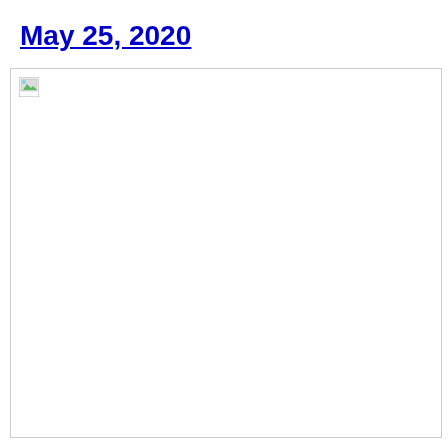May 25, 2020
[Figure (photo): Broken/unloaded image placeholder inside a bordered box]